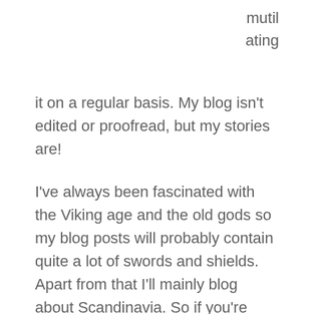mutil
ating
it on a regular basis. My blog isn't edited or proofread, but my stories are!
I've always been fascinated with the Viking age and the old gods so my blog posts will probably contain quite a lot of swords and shields. Apart from that I'll mainly blog about Scandinavia. So if you're interested in this cold outpost of the world, you're welcome to follow my blog. And you're more than welcome to add suggestions to topics I should adress!